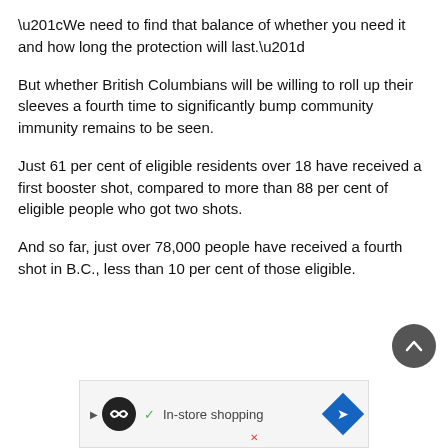“We need to find that balance of whether you need it and how long the protection will last.”
But whether British Columbians will be willing to roll up their sleeves a fourth time to significantly bump community immunity remains to be seen.
Just 61 per cent of eligible residents over 18 have received a first booster shot, compared to more than 88 per cent of eligible people who got two shots.
And so far, just over 78,000 people have received a fourth shot in B.C., less than 10 per cent of those eligible.
[Figure (other): Scroll-to-top button (dark circular button with upward chevron arrow)]
[Figure (other): Advertisement banner with Loop & Tie logo, checkmark, 'In-store shopping' text, and navigation arrow icon]